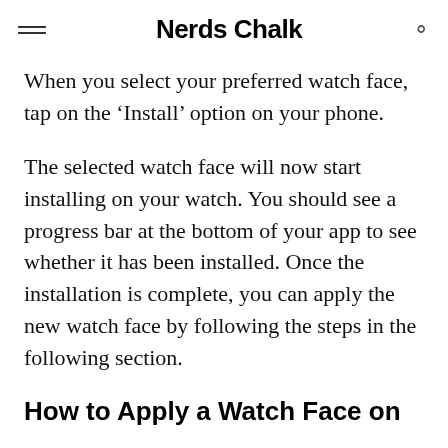Nerds Chalk
When you select your preferred watch face, tap on the ‘Install’ option on your phone.
The selected watch face will now start installing on your watch. You should see a progress bar at the bottom of your app to see whether it has been installed. Once the installation is complete, you can apply the new watch face by following the steps in the following section.
How to Apply a Watch Face on